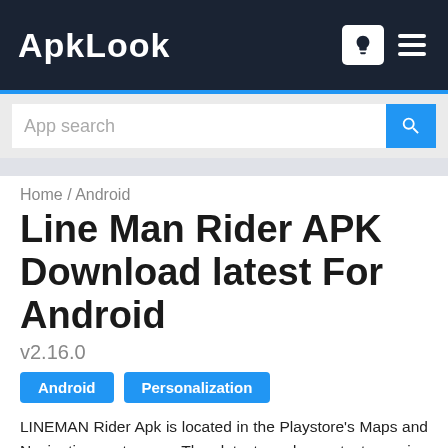ApkLook
[Figure (screenshot): Search bar with 'App search' placeholder and blue search button]
Home / Android
Line Man Rider APK Download latest For Android
v2.16.0
Android
Personalization
LINEMAN Rider Apk is located in the Playstore's Maps and Navigation category. The latest and greatest version available. It is very easy to download and install. Use your favorite browser to download the app and click the install button to install it.